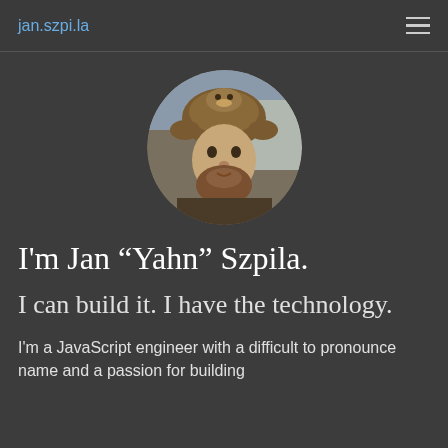jan.szpi.la
[Figure (photo): Circular profile photo of a bearded man wearing a novelty animal hat (resembling a duck or platypus), photographed outdoors in front of a house.]
I'm Jan “Yahn” Szpila.
I can build it. I have the technology.
I'm a JavaScript engineer with a difficult to pronounce name and a passion for building